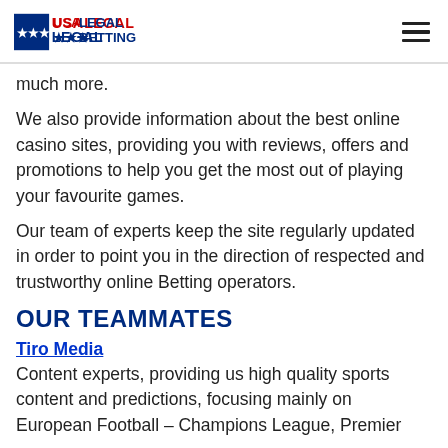USA LEGAL BETTING
much more.
We also provide information about the best online casino sites, providing you with reviews, offers and promotions to help you get the most out of playing your favourite games.
Our team of experts keep the site regularly updated in order to point you in the direction of respected and trustworthy online Betting operators.
OUR TEAMMATES
Tiro Media
Content experts, providing us high quality sports content and predictions, focusing mainly on European Football – Champions League, Premier